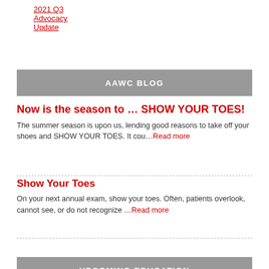2021 Q3 Advocacy Update
AAWC BLOG
Now is the season to … SHOW YOUR TOES!
The summer season is upon us, lending good reasons to take off your shoes and SHOW YOUR TOES. It cou…Read more
Show Your Toes
On your next annual exam, show your toes. Often, patients overlook, cannot see, or do not recognize …Read more
Visit the blog
UPCOMING EDUCATION